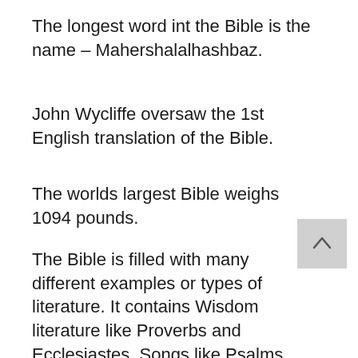The longest word int the Bible is the name – Mahershalalhashbaz.
John Wycliffe oversaw the 1st English translation of the Bible.
The worlds largest Bible weighs 1094 pounds.
The Bible is filled with many different examples or types of literature. It contains Wisdom literature like Proverbs and Ecclesiastes, Songs like Psalms, Historical books like Ruth and 1 Samuel, Epistles such as Romans, Gospels like Matthew and John,